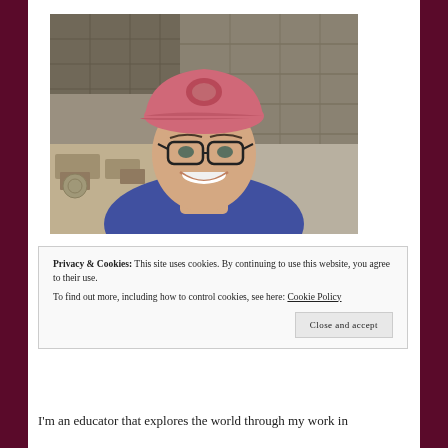[Figure (photo): A woman wearing a pink baseball cap and glasses, smiling at the camera in a selfie. She is wearing a blue t-shirt. The background shows ancient stone ruins/walls.]
Privacy & Cookies: This site uses cookies. By continuing to use this website, you agree to their use.
To find out more, including how to control cookies, see here: Cookie Policy
Close and accept
I'm an educator that explores the world through my work in